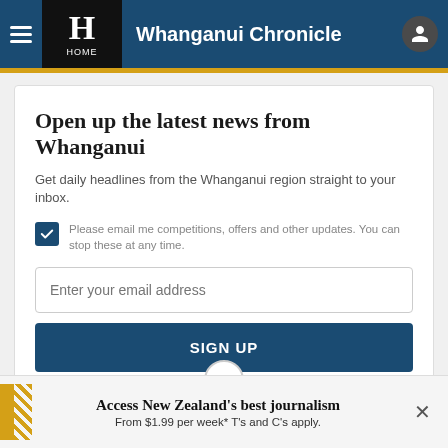Whanganui Chronicle
Open up the latest news from Whanganui
Get daily headlines from the Whanganui region straight to your inbox.
Please email me competitions, offers and other updates. You can stop these at any time.
Enter your email address
SIGN UP
Access New Zealand's best journalism From $1.99 per week* T's and C's apply.